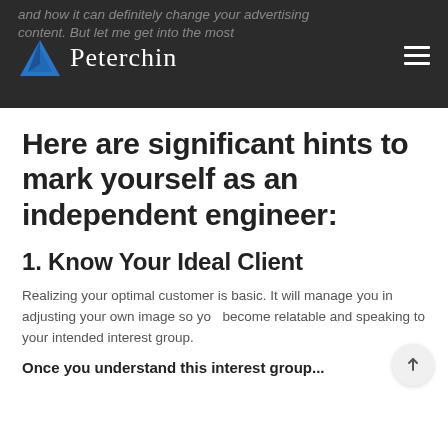and how it can definitely change your advertising content. But let me get into the most
[Figure (logo): Peterchin logo with blue triangle mountain icon and cursive Peterchin text on dark background]
Here are significant hints to mark yourself as an independent engineer:
1. Know Your Ideal Client
Realizing your optimal customer is basic. It will manage you in adjusting your own image so you become relatable and speaking to your intended interest group.
Once you understand this interest group...